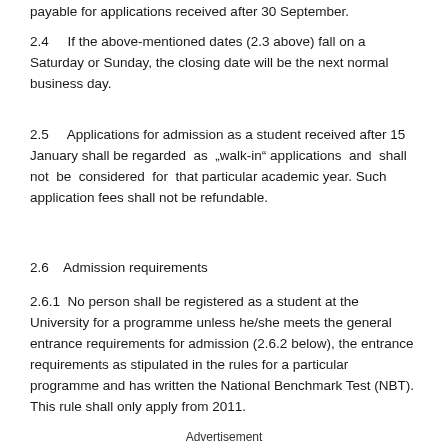payable for applications received after 30 September.
2.4      If the above-mentioned dates (2.3 above) fall on a Saturday or Sunday, the closing date will be the next normal business day.
2.5      Applications for admission as a student received after 15 January shall be regarded as „walk-in“ applications and shall not be considered for that particular academic year. Such application fees shall not be refundable.
2.6     Admission requirements
2.6.1  No person shall be registered as a student at the University for a programme unless he/she meets the general entrance requirements for admission (2.6.2 below), the entrance requirements as stipulated in the rules for a particular programme and has written the National Benchmark Test (NBT). This rule shall only apply from 2011.
Advertisement